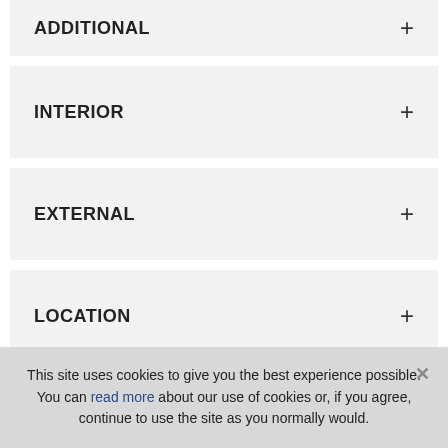ADDITIONAL
INTERIOR
EXTERNAL
LOCATION
FINANCIAL
This site uses cookies to give you the best experience possible. You can read more about our use of cookies or, if you agree, continue to use the site as you normally would.